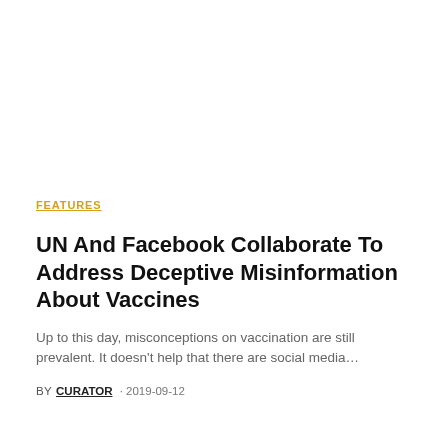FEATURES
UN And Facebook Collaborate To Address Deceptive Misinformation About Vaccines
Up to this day, misconceptions on vaccination are still prevalent. It doesn't help that there are social media…
BY CURATOR · 2019-09-12